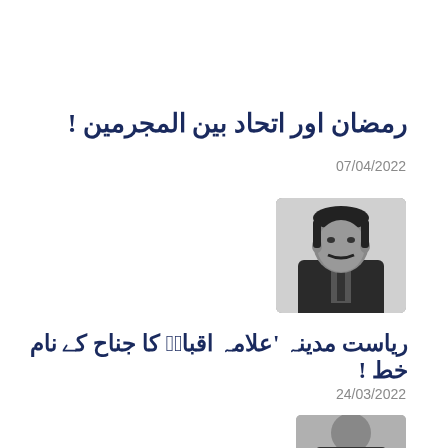رمضان اور اتحاد بین المجرمین !
07/04/2022
[Figure (photo): Black and white portrait photo of a man in a suit with a mustache]
ریاست مدینہ 'علامہ اقبالؒ کا جناح کے نام خط !
24/03/2022
[Figure (photo): Partially visible black and white portrait photo at bottom of page]